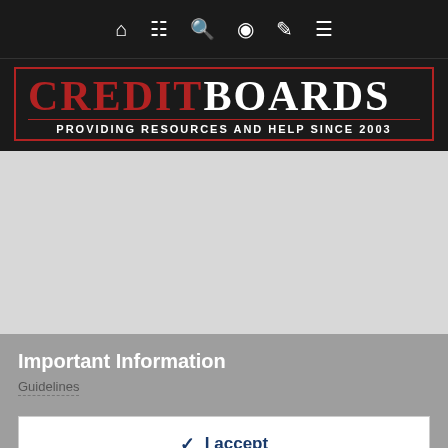Navigation bar with home, news, search, contrast, brush, and menu icons
[Figure (logo): CreditBoards logo — CREDIT in red serif font, BOARDS in white serif font, tagline PROVIDING RESOURCES AND HELP SINCE 2003 in white on black background with red border]
[Figure (other): Advertisement area — light gray rectangle placeholder]
Important Information
Guidelines
I accept